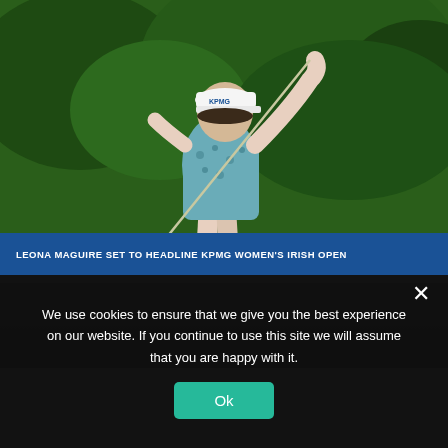[Figure (photo): Female golfer mid-swing wearing a KPMG cap and blue patterned top, with a dark green background of trees.]
LEONA MAGUIRE SET TO HEADLINE KPMG WOMEN'S IRISH OPEN
[Figure (photo): Partial view of a second article image, mostly grey/white.]
We use cookies to ensure that we give you the best experience on our website. If you continue to use this site we will assume that you are happy with it.